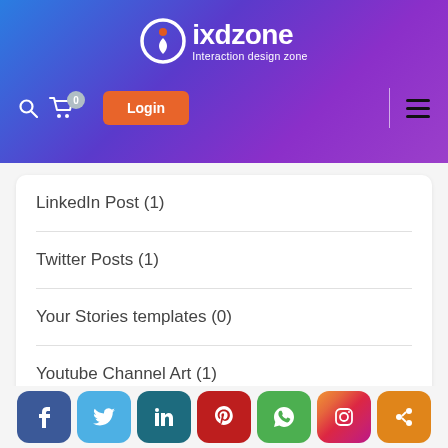[Figure (logo): IxdZone logo with circular icon and text 'ixdzone - Interaction design zone' on a blue-to-purple gradient header]
LinkedIn Post (1)
Twitter Posts (1)
Your Stories templates (0)
Youtube Channel Art (1)
[Figure (infographic): Social share bar with buttons: Facebook, Twitter, LinkedIn, Pinterest, WhatsApp, Instagram, Share]